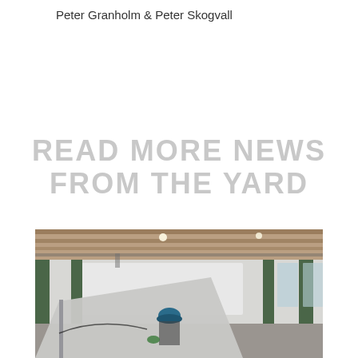Peter Granholm & Peter Skogvall
READ MORE NEWS FROM THE YARD
[Figure (photo): Interior of a shipyard or industrial workshop. A worker in a hard hat is visible in the foreground working on a large metal structure. The background shows green structural columns, large windows, and a wooden ceiling with overhead cranes.]